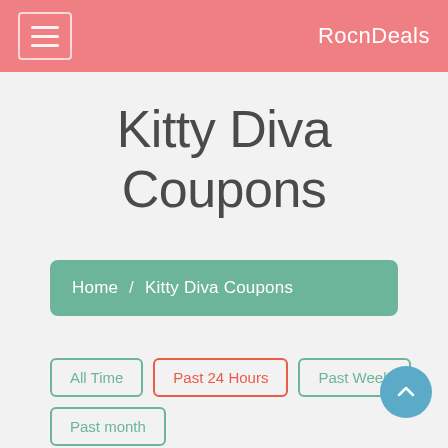RocnDeals
Kitty Diva Coupons
Home / Kitty Diva Coupons
All Time
Past 24 Hours
Past Week
Past month